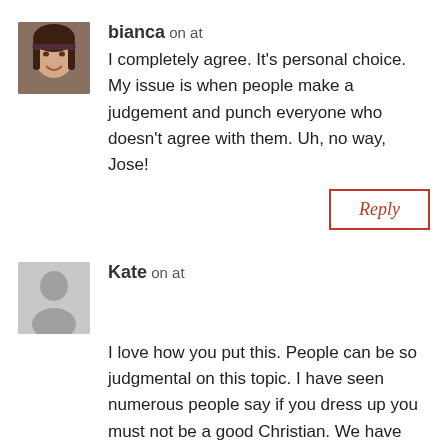bianca on at
I completely agree. It's personal choice. My issue is when people make a judgement and punch everyone who doesn't agree with them. Uh, no way, Jose!
Reply
Kate on at
I love how you put this. People can be so judgmental on this topic. I have seen numerous people say if you dress up you must not be a good Christian. We have decided as parents we don't take part in the scary part of Halloween. We let our three